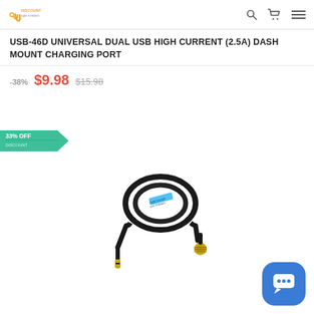[Figure (logo): Discount Car Stereo logo with sound wave icon and orange/yellow branding]
USB-46D UNIVERSAL DUAL USB HIGH CURRENT (2.5A) DASH MOUNT CHARGING PORT
-38%  $9.98  $15.98
[Figure (infographic): 33% OFF badge in teal/green color with pennant shape]
[Figure (photo): Black cable coiled with gold connectors on each end, one angled 3.5mm plug and one gold threaded connector, with Discount Car Stereo label visible]
[Figure (other): Blue rounded square chat/messaging button with speech bubble icon in bottom right corner]